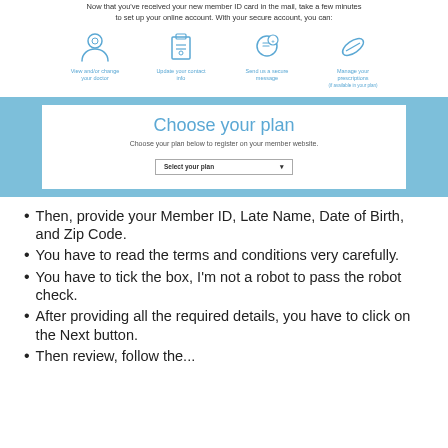Now that you've received your new member ID card in the mail, take a few minutes to set up your online account. With your secure account, you can:
[Figure (infographic): Four icons in a row: View and/or change your doctor, Update your contact info, Send us a secure message, Manage your prescriptions (if available in your plan)]
[Figure (screenshot): Choose your plan section with blue background and white inner box. Heading: Choose your plan. Subtext: Choose your plan below to register on your member website. A dropdown selector labeled: Select your plan.]
Then, provide your Member ID, Late Name, Date of Birth, and Zip Code.
You have to read the terms and conditions very carefully.
You have to tick the box, I'm not a robot to pass the robot check.
After providing all the required details, you have to click on the Next button.
Then review, follow the...